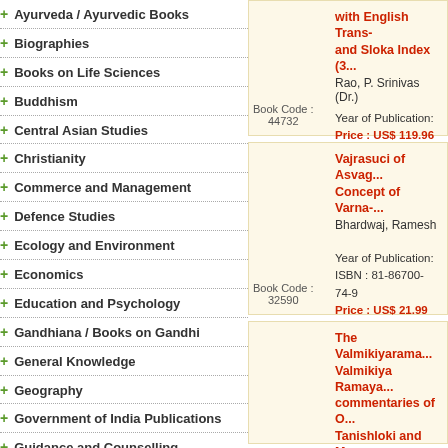+ Ayurveda / Ayurvedic Books
+ Biographies
+ Books on Life Sciences
+ Buddhism
+ Central Asian Studies
+ Christianity
+ Commerce and Management
+ Defence Studies
+ Ecology and Environment
+ Economics
+ Education and Psychology
+ Gandhiana / Books on Gandhi
+ General Knowledge
+ Geography
+ Government of India Publications
+ Guidance and Counselling
+ Health and Fitness
+ Himalayan Studies
+ Hinduism
+ History
+ Human Rights
+ Information Technology
Book Code: 44732
Year of Publication:
Price: US$ 119.96
with English Trans and Sloka Index (3...
Rao, P. Srinivas (Dr.)
Book Code: 32590
Vajrasuci of Asvag... Concept of Varna-...
Bhardwaj, Ramesh
Year of Publication:
ISBN: 81-86700-74-9
Price: US$ 21.99
The Valmikiyarama... Valmikiya Ramaya... commentaries of O... Tanishloki and Ma... Volumes
Year of Publication: